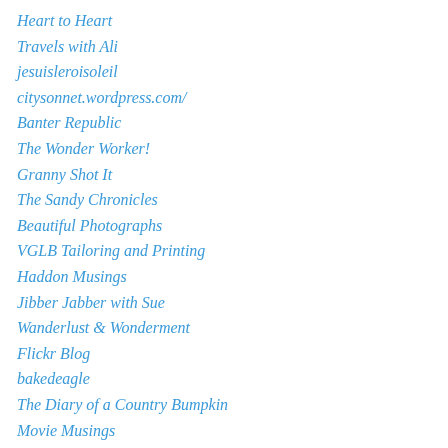Heart to Heart
Travels with Ali
jesuisleroisoleil
citysonnet.wordpress.com/
Banter Republic
The Wonder Worker!
Granny Shot It
The Sandy Chronicles
Beautiful Photographs
VGLB Tailoring and Printing
Haddon Musings
Jibber Jabber with Sue
Wanderlust & Wonderment
Flickr Blog
bakedeagle
The Diary of a Country Bumpkin
Movie Musings
Cathy's real country garden
Hadd Hai Yaar
“Summer is the season of inferior sledding” - Inuit proverb (Women's